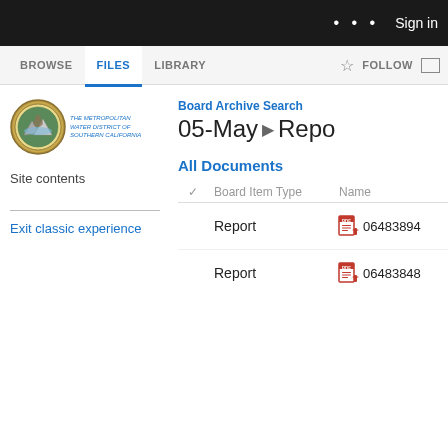... Sign in
BROWSE  FILES  LIBRARY  FOLLOW
[Figure (logo): Metropolitan Water District of Southern California seal/logo with circular emblem and organization name]
Board Archive Search  05-May  Repo
Site contents
Exit classic experience
All Documents
|  | Board Item Type | Name |
| --- | --- | --- |
| Report | 06483894 |
| Report | 06483848 |